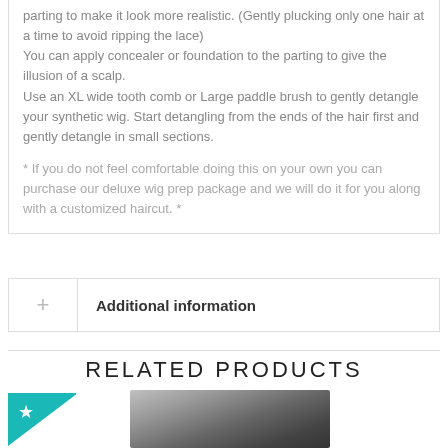parting to make it look more realistic. (Gently plucking only one hair at a time to avoid ripping the lace)
You can apply concealer or foundation to the parting to give the illusion of a scalp.
Use an XL wide tooth comb or Large paddle brush to gently detangle your synthetic wig. Start detangling from the ends of the hair first and gently detangle in small sections.
* If you do not feel comfortable doing this on your own you can purchase our deluxe wig prep package and we will do it for you along with a customized haircut. *
Additional information
RELATED PRODUCTS
[Figure (photo): Product image showing a dark-haired wig with a teal/turquoise star badge in the upper left corner]